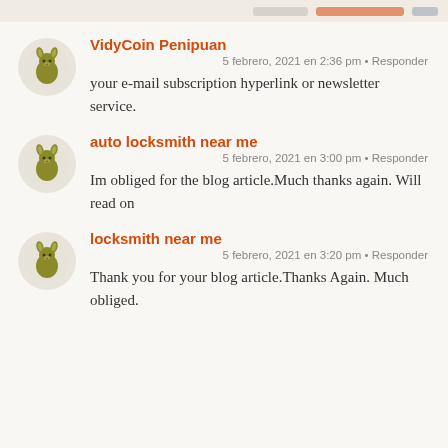VidyCoin Penipuan
5 febrero, 2021 en 2:36 pm • Responder
your e-mail subscription hyperlink or newsletter service.
auto locksmith near me
5 febrero, 2021 en 3:00 pm • Responder
Im obliged for the blog article.Much thanks again. Will read on
locksmith near me
5 febrero, 2021 en 3:20 pm • Responder
Thank you for your blog article.Thanks Again. Much obliged.